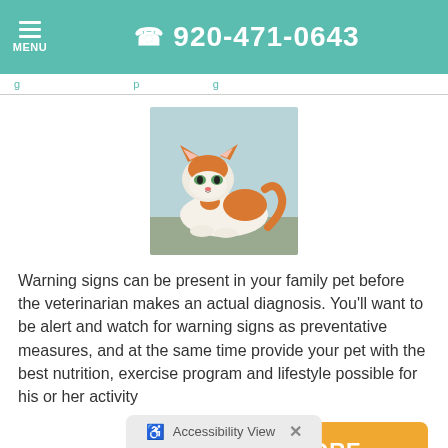☰ MENU  📞 920-471-0643
Warning signs can be present in your family pet before the veterinarian makes an actual diagnosis. You'll want to be alert and watch for warning signs as preventative measures, and at the same time provide your pet with the best nutrition, exercise program and lifestyle possible for his or her activity
[Figure (photo): Orange and white cat lying down, looking at the camera]
READ MORE
♿ Accessibility View  ✕